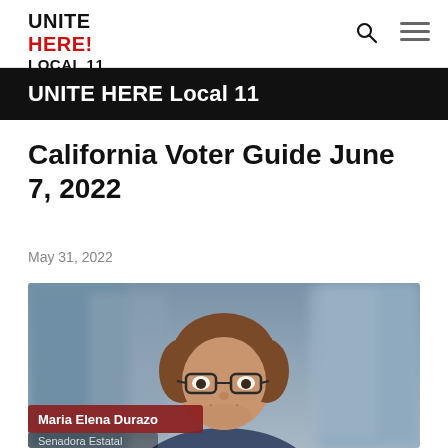UNITE HERE! LOCAL 11
UNITE HERE Local 11
California Voter Guide June 7, 2022
May 31, 2022
[Figure (photo): Portrait photo of a woman with short brown hair and glasses, with a name overlay reading 'Maria Elena Durazo' and partial text 'Senadora Estatal' below]
Maria Elena Durazo
Senadora Estatal